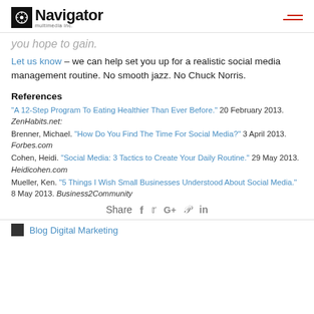Navigator multimedia inc.
you hope to gain.
Let us know – we can help set you up for a realistic social media management routine. No smooth jazz. No Chuck Norris.
References
"A 12-Step Program To Eating Healthier Than Ever Before." 20 February 2013. ZenHabits.net:
Brenner, Michael. "How Do You Find The Time For Social Media?" 3 April 2013. Forbes.com
Cohen, Heidi. "Social Media: 3 Tactics to Create Your Daily Routine." 29 May 2013. Heidicohen.com
Mueller, Ken. "5 Things I Wish Small Businesses Understood About Social Media." 8 May 2013. Business2Community
Share
Blog Digital Marketing